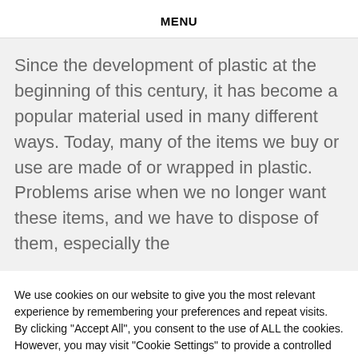MENU
Since the development of plastic at the beginning of this century, it has become a popular material used in many different ways. Today, many of the items we buy or use are made of or wrapped in plastic. Problems arise when we no longer want these items, and we have to dispose of them, especially the
We use cookies on our website to give you the most relevant experience by remembering your preferences and repeat visits. By clicking “Accept All”, you consent to the use of ALL the cookies. However, you may visit “Cookie Settings” to provide a controlled consent.
Cookie Settings | Accept All